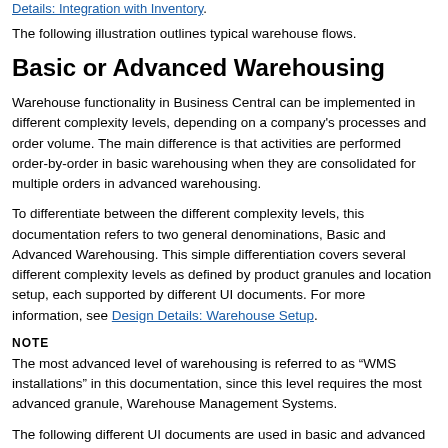Details: Integration with Inventory.
The following illustration outlines typical warehouse flows.
Basic or Advanced Warehousing
Warehouse functionality in Business Central can be implemented in different complexity levels, depending on a company's processes and order volume. The main difference is that activities are performed order-by-order in basic warehousing when they are consolidated for multiple orders in advanced warehousing.
To differentiate between the different complexity levels, this documentation refers to two general denominations, Basic and Advanced Warehousing. This simple differentiation covers several different complexity levels as defined by product granules and location setup, each supported by different UI documents. For more information, see Design Details: Warehouse Setup.
NOTE
The most advanced level of warehousing is referred to as “WMS installations” in this documentation, since this level requires the most advanced granule, Warehouse Management Systems.
The following different UI documents are used in basic and advanced warehousing.